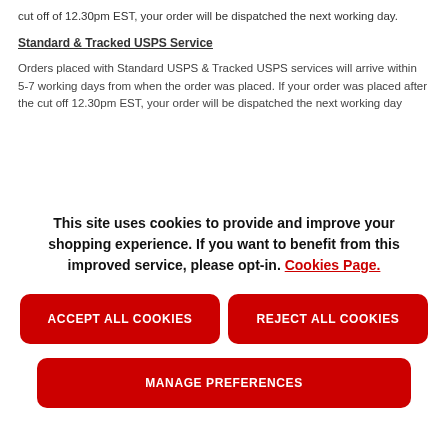cut off of 12.30pm EST, your order will be dispatched the next working day.
Standard & Tracked USPS Service
Orders placed with Standard USPS & Tracked USPS services will arrive within 5-7 working days from when the order was placed. If your order was placed after the cut off 12.30pm EST, your order will be dispatched the next working day
This site uses cookies to provide and improve your shopping experience. If you want to benefit from this improved service, please opt-in. Cookies Page.
ACCEPT ALL COOKIES
REJECT ALL COOKIES
MANAGE PREFERENCES